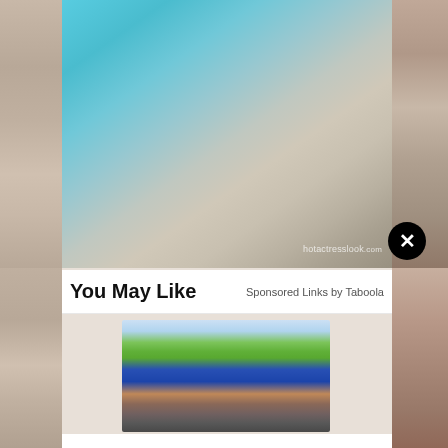[Figure (photo): Top portion of webpage showing a partial photo (person in teal/cyan clothing, sandy background) with a watermark 'hotactresslook.com' and a black circular close button with X]
You May Like
Sponsored Links by Taboola
[Figure (photo): Advertisement image showing a middle-aged woman with dark hair smiling while riding a bicycle outdoors, wearing a blue sleeveless shirt, with green trees in the background]
Teeth in 24 hours. Real people, Real stories.
G4 By Golpa